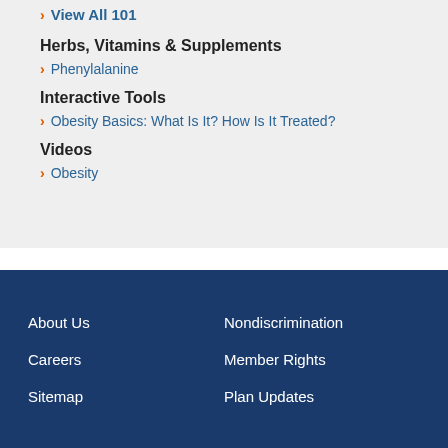View All 101
Herbs, Vitamins & Supplements
Phenylalanine
Interactive Tools
Obesity Basics: What Is It? How Is It Treated?
Videos
Obesity
About Us | Nondiscrimination | Careers | Member Rights | Sitemap | Plan Updates